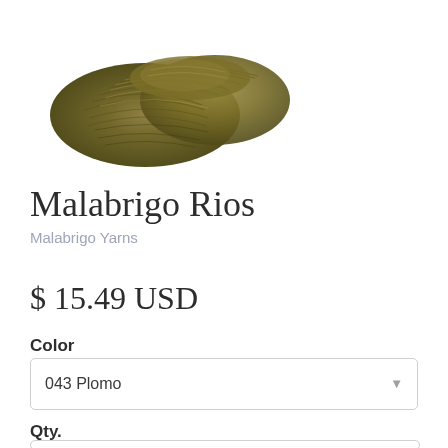[Figure (photo): A skein of olive/khaki green variegated yarn (Malabrigo Rios) twisted into a hank shape, photographed on white background.]
Malabrigo Rios
Malabrigo Yarns
$ 15.49 USD
Color
043 Plomo
Qty.